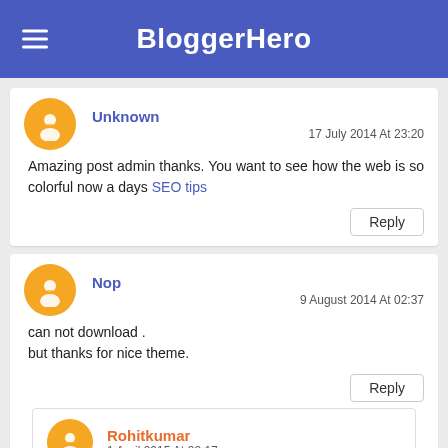BloggerHero
Unknown
17 July 2014 At 23:20
Amazing post admin thanks. You want to see how the web is so colorful now a days SEO tips
Reply
Nop
9 August 2014 At 02:37
can not download .
but thanks for nice theme.
Reply
Rohitkumar
1 April 2015 At 20:17